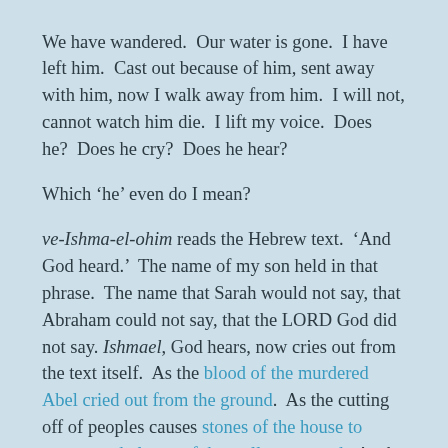We have wandered.  Our water is gone.  I have left him.  Cast out because of him, sent away with him, now I walk away from him.  I will not, cannot watch him die.  I lift my voice.  Does he?  Does he cry?  Does he hear?
Which ‘he’ even do I mean?
ve-Ishma-el-ohim reads the Hebrew text.  ‘And God heard.’  The name of my son held in that phrase.  The name that Sarah would not say, that Abraham could not say, that the LORD God did not say. Ishmael, God hears, now cries out from the text itself.  As the blood of the murdered Abel cried out from the ground.  As the cutting off of peoples causes stones of the house to protest and plaster of the wall to respond.  As the stones of the city will cry out the presence of the Christ if his